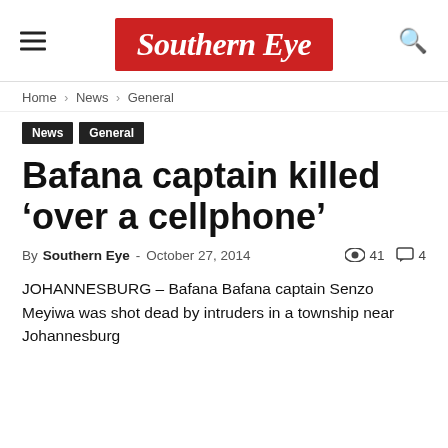Southern Eye
Home › News › General
News
General
Bafana captain killed ‘over a cellphone’
By Southern Eye - October 27, 2014  👁 41  💬 4
JOHANNESBURG – Bafana Bafana captain Senzo Meyiwa was shot dead by intruders in a township near Johannesburg